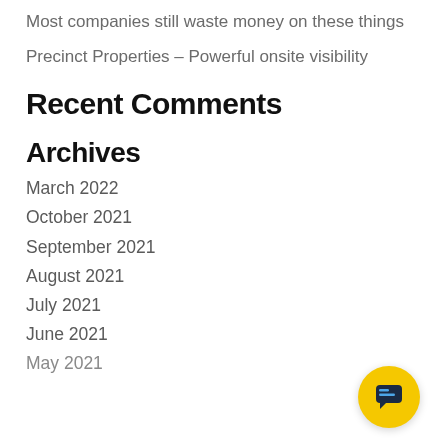Most companies still waste money on these things
Precinct Properties – Powerful onsite visibility
Recent Comments
Archives
March 2022
October 2021
September 2021
August 2021
July 2021
June 2021
May 2021
[Figure (screenshot): Chat popup widget with avatar icon and message 'Got any questions? I'm happy to help.' with a yellow chat button in the bottom right corner.]